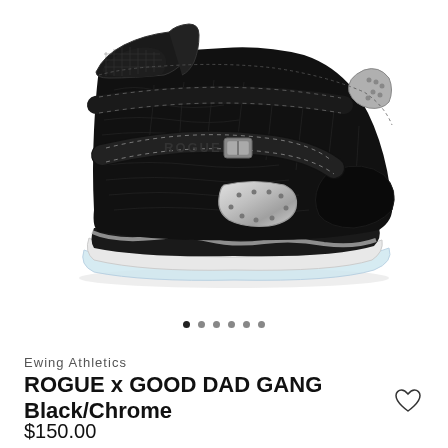[Figure (photo): Black high-top sneaker with crocodile-textured leather upper, silver/chrome metallic accents, strap with ROGUE buckle, and clear/white ice sole. Ewing Athletics Rogue x Good Dad Gang Black/Chrome colorway.]
Ewing Athletics
ROGUE x GOOD DAD GANG Black/Chrome
$150.00